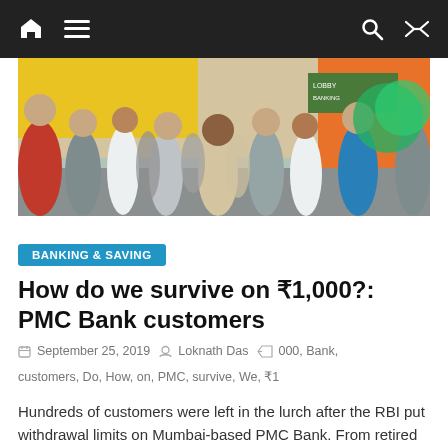Navigation bar with home, menu, search, and shuffle icons
[Figure (photo): Crowd of people outside a bank branch, likely PMC Bank, with people gathered and some signage visible including 'Lobby Banking']
BANKING & SAVING
How do we survive on ₹1,000?: PMC Bank customers
September 25, 2019   Loknath Das   000, Bank, customers, Do, How, on, PMC, survive, We, ₹1
Hundreds of customers were left in the lurch after the RBI put withdrawal limits on Mumbai-based PMC Bank. From retired
Read more